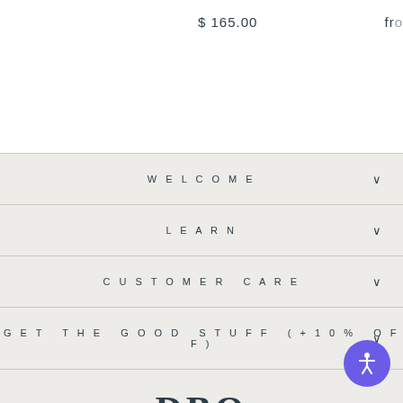$ 165.00   fro
WELCOME
LEARN
CUSTOMER CARE
GET THE GOOD STUFF (+10 % OFF)
[Figure (logo): DBO HOME logo with large serif DBO and smaller sans-serif HOME text below]
© 2022 DBO HOME